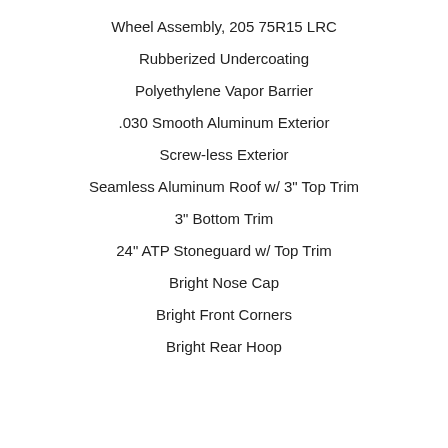Wheel Assembly, 205 75R15 LRC
Rubberized Undercoating
Polyethylene Vapor Barrier
.030 Smooth Aluminum Exterior
Screw-less Exterior
Seamless Aluminum Roof w/ 3" Top Trim
3" Bottom Trim
24" ATP Stoneguard w/ Top Trim
Bright Nose Cap
Bright Front Corners
Bright Rear Hoop